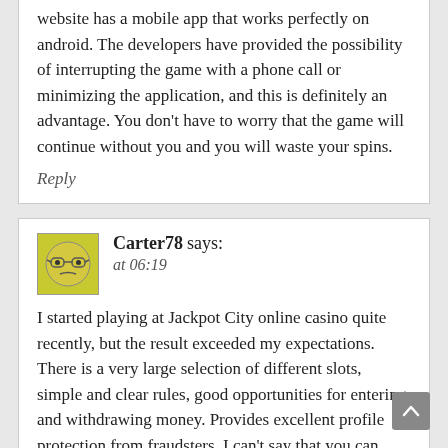website has a mobile app that works perfectly on android. The developers have provided the possibility of interrupting the game with a phone call or minimizing the application, and this is definitely an advantage. You don't have to worry that the game will continue without you and you will waste your spins.
Reply
Carter78 says: at 06:19
I started playing at Jackpot City online casino quite recently, but the result exceeded my expectations. There is a very large selection of different slots, simple and clear rules, good opportunities for entering and withdrawing money. Provides excellent profile protection from fraudsters. I can't say that you can earn millions here, but if you don't get greedy, you won't stay in the red. Beginners can use the trial version for the game without paying for as long as they want. When you first top up your account, you